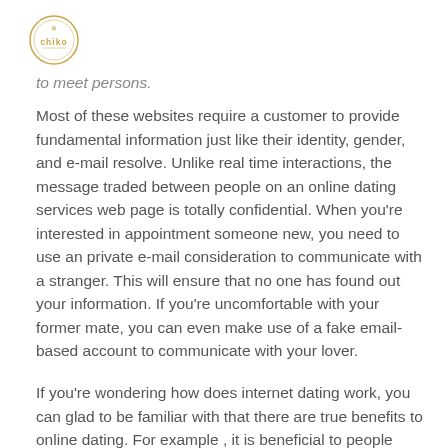[Figure (logo): Chiko brand logo — circular badge with decorative elements and the word 'chiko']
to meet persons.
Most of these websites require a customer to provide fundamental information just like their identity, gender, and e-mail resolve. Unlike real time interactions, the message traded between people on an online dating services web page is totally confidential. When you're interested in appointment someone new, you need to use an private e-mail consideration to communicate with a stranger. This will ensure that no one has found out your information. If you're uncomfortable with your former mate, you can even make use of a fake email-based account to communicate with your lover.
If you're wondering how does internet dating work, you can glad to be familiar with that there are true benefits to online dating. For example , it is beneficial to people who have a hard time meeting persons in person. By limiting their very own experience of other people, that makes it more likely to be a great option for 10 years younger